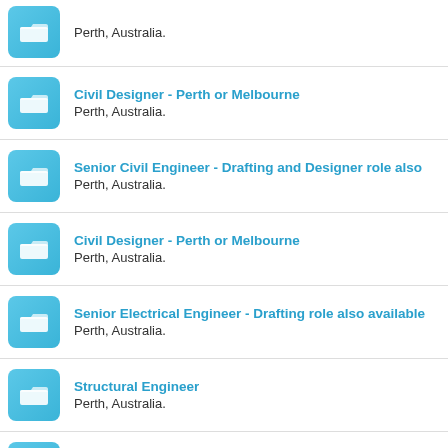Perth, Australia.
Civil Designer - Perth or Melbourne
Perth, Australia.
Senior Civil Engineer - Drafting and Designer role also
Perth, Australia.
Civil Designer - Perth or Melbourne
Perth, Australia.
Senior Electrical Engineer - Drafting role also available
Perth, Australia.
Structural Engineer
Perth, Australia.
Civil Engineer - Broome or Albany
Regional WA, Australia.
Civil Designer/Engineer - Senior role also available
Perth, Australia.
Senior Civil Engineer - Drafting and Designer role also